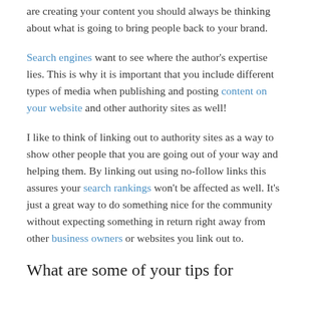are creating your content you should always be thinking about what is going to bring people back to your brand.
Search engines want to see where the author's expertise lies. This is why it is important that you include different types of media when publishing and posting content on your website and other authority sites as well!
I like to think of linking out to authority sites as a way to show other people that you are going out of your way and helping them. By linking out using no-follow links this assures your search rankings won't be affected as well. It's just a great way to do something nice for the community without expecting something in return right away from other business owners or websites you link out to.
What are some of your tips for